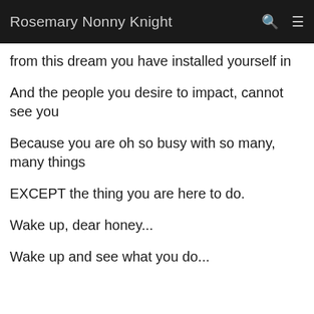Rosemary Nonny Knight
from this dream you have installed yourself in
And the people you desire to impact, cannot see you
Because you are oh so busy with so many, many things
EXCEPT the thing you are here to do.
Wake up, dear honey...
Wake up and see what you do...